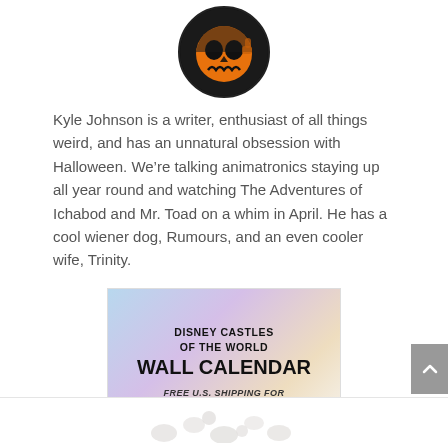[Figure (photo): Circular profile photo showing a person wearing an orange Jack Skellington / Halloween skull mask/costume with a thumbs up gesture, dark background]
Kyle Johnson is a writer, enthusiast of all things weird, and has an unnatural obsession with Halloween. We’re talking animatronics staying up all year round and watching The Adventures of Ichabod and Mr. Toad on a whim in April. He has a cool wiener dog, Rumours, and an even cooler wife, Trinity.
[Figure (illustration): Advertisement banner with pastel gradient background reading: DISNEY CASTLES OF THE WORLD WALL CALENDAR / FREE U.S. SHIPPING FOR PRE-ORDERS ONLY]
[Figure (photo): Partial image at bottom showing scattered white pill/tablet shapes on a light surface]